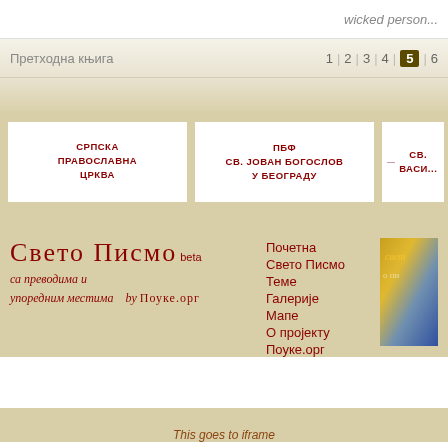wicked person...
Претходна књига  1 | 2 | 3 | 4 | 5 | 6
[Figure (screenshot): Navigation cards: СРПСКА ПРАВОСЛАВНА ЦРКВА, ПБФ СВ. ЈОВАН БОГОСЛОВ У БЕОГРАДУ, СВ. ВАСИ...]
Свето Писмо beta
са преводима и упоредним местима  by Поуке.орг
Почетна
Свето Писмо
Теме
Галерије
Мапе
О пројекту
Поуке.орг
This goes to iframe